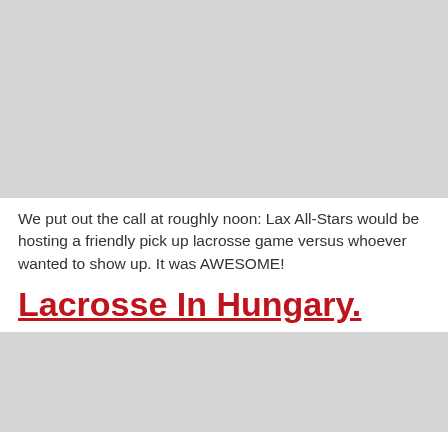[Figure (photo): Large grey placeholder image at the top of the page]
We put out the call at roughly noon: Lax All-Stars would be hosting a friendly pick up lacrosse game versus whoever wanted to show up. It was AWESOME!
Lacrosse In Hungary.
[Figure (photo): Grey placeholder image at the bottom of the page]